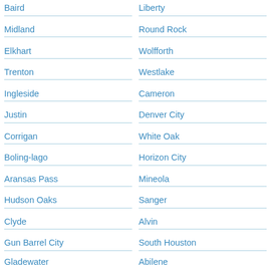Baird
Midland
Elkhart
Trenton
Ingleside
Justin
Corrigan
Boling-lago
Aransas Pass
Hudson Oaks
Clyde
Gun Barrel City
Gladewater
Liberty
Round Rock
Wolfforth
Westlake
Cameron
Denver City
White Oak
Horizon City
Mineola
Sanger
Alvin
South Houston
Abilene